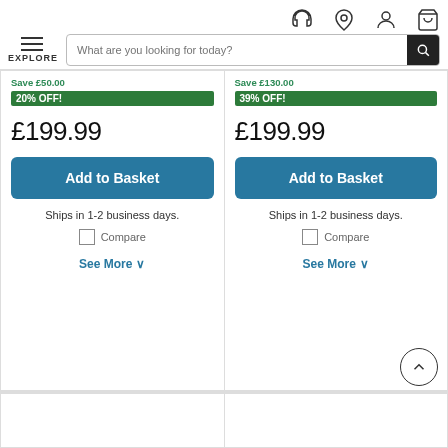[Figure (screenshot): E-commerce website header with icons (headset, location, account, cart), hamburger menu with EXPLORE label, and search bar saying 'What are you looking for today?']
Save £50.00
20% OFF!
£199.99
Add to Basket
Ships in 1-2 business days.
Compare
See More
Save £130.00
39% OFF!
£199.99
Add to Basket
Ships in 1-2 business days.
Compare
See More